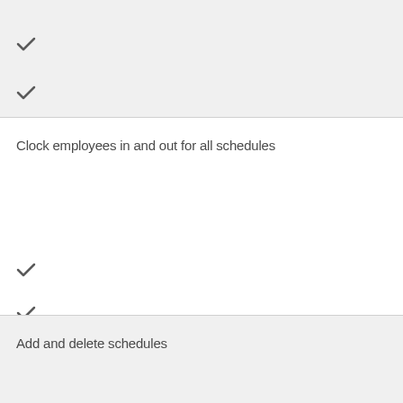✓
✓
Clock employees in and out for all schedules
✓
✓
Add and delete schedules
✓
✓